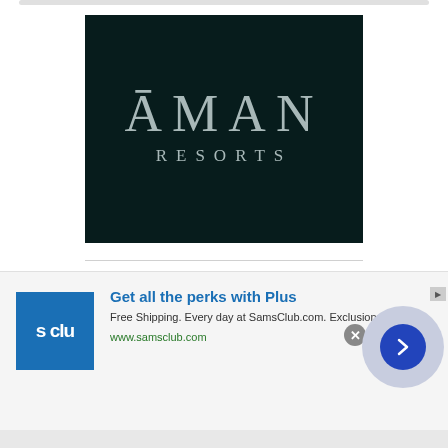[Figure (logo): Āman Resorts logo on dark teal/black background, with stylized serif text 'ĀMAN' and 'RESORTS' below]
Luxury Partners
[Figure (infographic): Advertisement banner for Sams Club Plus membership with blue logo showing 's clu', headline 'Get all the perks with Plus', body text 'Free Shipping. Every day at SamsClub.com. Exclusions apply.', URL 'www.samsclub.com', close button and arrow navigation button]